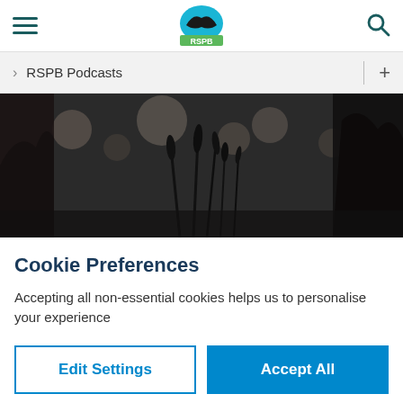[Figure (screenshot): RSPB website screenshot showing navigation header with hamburger menu, RSPB logo, and search icon, followed by a breadcrumb bar with 'RSPB Podcasts' text, a hero image of dark plant silhouettes in black and white, and a Cookie Preferences modal with Edit Settings and Accept All buttons.]
RSPB Podcasts
Cookie Preferences
Accepting all non-essential cookies helps us to personalise your experience
Edit Settings
Accept All